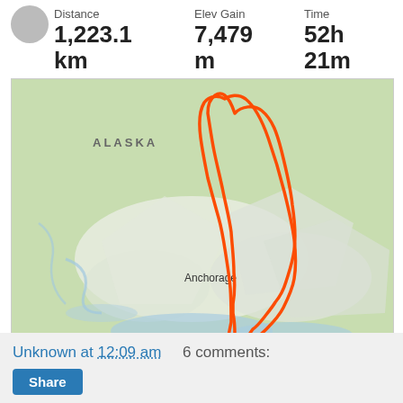Distance: 1,223.1 km | Elev Gain: 7,479 m | Time: 52h 21m
[Figure (map): Strava activity map showing a cycling route loop near Anchorage, Alaska. The route is traced in orange on a topographic map with green and white terrain features. The label 'ALASKA' appears in the upper left. 'Anchorage' is labeled at the bottom center of the route.]
STRAVA
View
Unknown at 12:09 am   6 comments:
Share